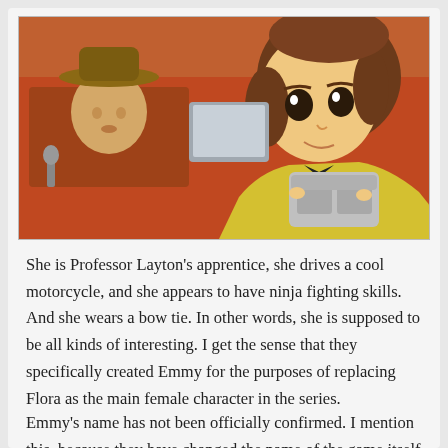[Figure (illustration): Anime screenshot from Professor Layton series showing a female character holding a camera/binoculars, leaning on what appears to be a red vehicle. Another character wearing a hat is visible in the background to the left.]
She is Professor Layton's apprentice, she drives a cool motorcycle, and she appears to have ninja fighting skills. And she wears a bow tie. In other words, she is supposed to be all kinds of interesting. I get the sense that they specifically created Emmy for the purposes of replacing Flora as the main female character in the series.
Emmy's name has not been officially confirmed. I mention this, because they have changed the name of the game itself